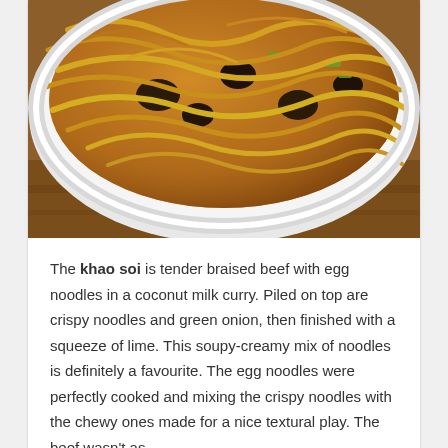[Figure (photo): Close-up photo of khao soi in a white bowl — egg noodles with braised beef in coconut milk curry, topped with crispy fried noodles and green onions, sitting on a wooden surface.]
The khao soi is tender braised beef with egg noodles in a coconut milk curry. Piled on top are crispy noodles and green onion, then finished with a squeeze of lime. This soupy-creamy mix of noodles is definitely a favourite. The egg noodles were perfectly cooked and mixing the crispy noodles with the chewy ones made for a nice textural play. The beef wasn't as